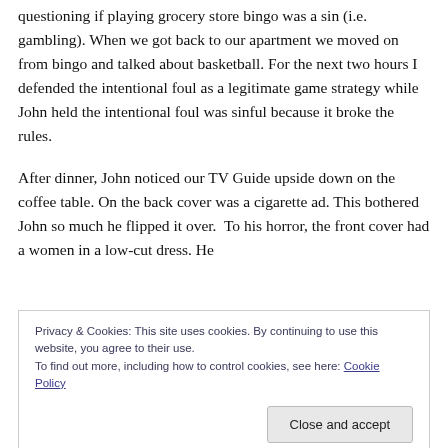questioning if playing grocery store bingo was a sin (i.e. gambling). When we got back to our apartment we moved on from bingo and talked about basketball. For the next two hours I defended the intentional foul as a legitimate game strategy while John held the intentional foul was sinful because it broke the rules.
After dinner, John noticed our TV Guide upside down on the coffee table. On the back cover was a cigarette ad. This bothered John so much he flipped it over.  To his horror, the front cover had a women in a low-cut dress. He
Privacy & Cookies: This site uses cookies. By continuing to use this website, you agree to their use.
To find out more, including how to control cookies, see here: Cookie Policy